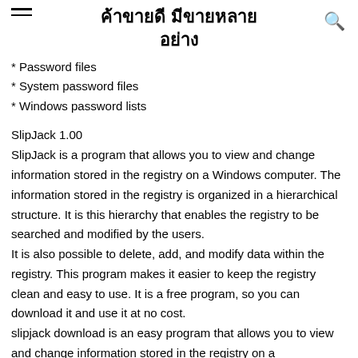ค้าขายดี มีขายหลายอย่าง
* Password files
* System password files
* Windows password lists
SlipJack 1.00
SlipJack is a program that allows you to view and change information stored in the registry on a Windows computer. The information stored in the registry is organized in a hierarchical structure. It is this hierarchy that enables the registry to be searched and modified by the users. It is also possible to delete, add, and modify data within the registry. This program makes it easier to keep the registry clean and easy to use. It is a free program, so you can download it and use it at no cost. slipjack download is an easy program that allows you to view and change information stored in the registry on a